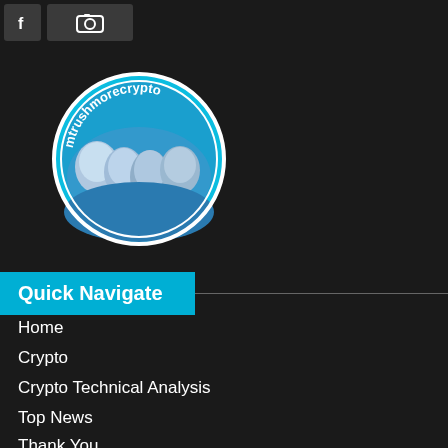[Figure (logo): Two small social media icon buttons (dark gray squares) at the top left — a Facebook 'f' icon and a camera/photo icon]
[Figure (logo): Circular logo with cyan/turquoise border, text 'mtrushmorecrypto' around the top arc, featuring an illustration of Mount Rushmore faces on a blue background]
Quick Navigate
Home
Crypto
Crypto Technical Analysis
Top News
Thank You
Store
[Figure (other): Cyan button partially visible at bottom with text 'Top News']